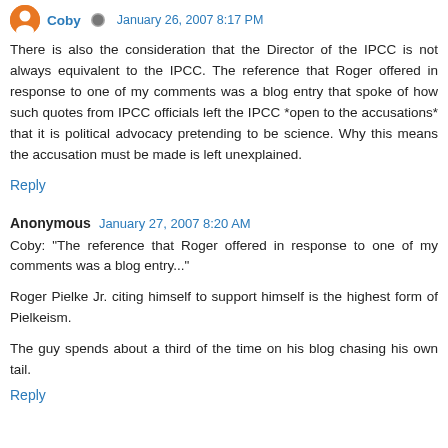Coby · January 26, 2007 8:17 PM
There is also the consideration that the Director of the IPCC is not always equivalent to the IPCC. The reference that Roger offered in response to one of my comments was a blog entry that spoke of how such quotes from IPCC officials left the IPCC *open to the accusations* that it is political advocacy pretending to be science. Why this means the accusation must be made is left unexplained.
Reply
Anonymous · January 27, 2007 8:20 AM
Coby: "The reference that Roger offered in response to one of my comments was a blog entry..."
Roger Pielke Jr. citing himself to support himself is the highest form of Pielkeism.
The guy spends about a third of the time on his blog chasing his own tail.
Reply